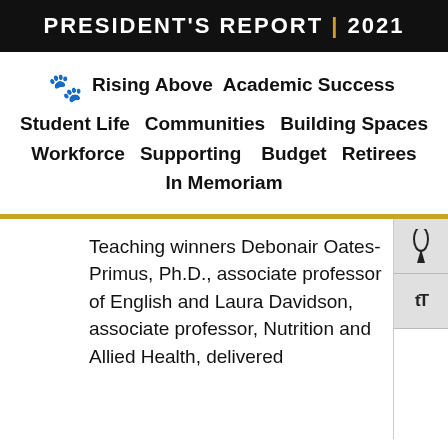PRESIDENT'S REPORT | 2021
Rising Above  Academic Success  Student Life  Communities  Building Spaces  Workforce  Supporting  Budget  Retirees  In Memoriam
Teaching winners Debonair Oates-Primus, Ph.D., associate professor of English and Laura Davidson, associate professor, Nutrition and Allied Health, delivered